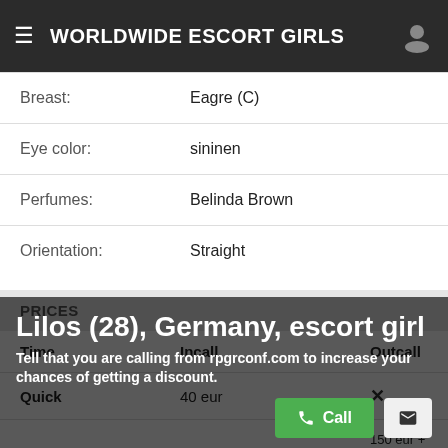WORLDWIDE ESCORT GIRLS
|  |  |
| --- | --- |
| Breast: | Eagre (C) |
| Eye color: | sininen |
| Perfumes: | Belinda Brown |
| Orientation: | Straight |
PRICES
| Time | Incall | Outcall |
| --- | --- | --- |
| Quick | 40 eur | ✕ |
| 1 hour | 130 eur | 150 eur + Outcall Travel Fee (Taxi) |
| Plus hour | 70 eur | ✕ |
| 12 hours | ✕ | ✕ |
| 24 hours | 1500 eur | ✕ |
Lilos (28), Germany, escort girl
Tell that you are calling from rpgrconf.com to increase your chances of getting a discount.